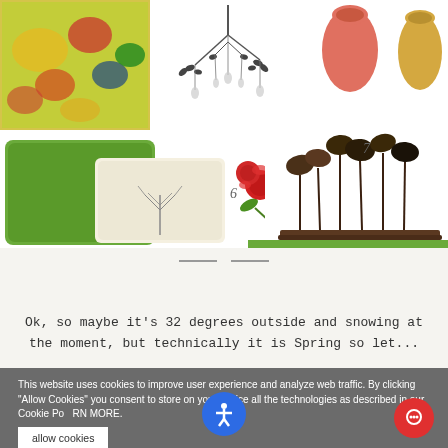[Figure (photo): Product collage: floral fabric, metal branch chandelier, coral vase, gold vase, green pillows with tree embroidery, red ranunculus flowers, decorative bird sculpture. Numbers 5, 6, 7 label items. Cookie consent banner and accessibility button overlay.]
spring fever
Ok, so maybe it's 32 degrees outside and snowing at the moment, but technically it is Spring so let...
This website uses cookies to improve user experience and analyze web traffic. By clicking "Allow Cookies" you consent to store on your device all the technologies as described in our Cookie Po  RN MORE.
allow cookies